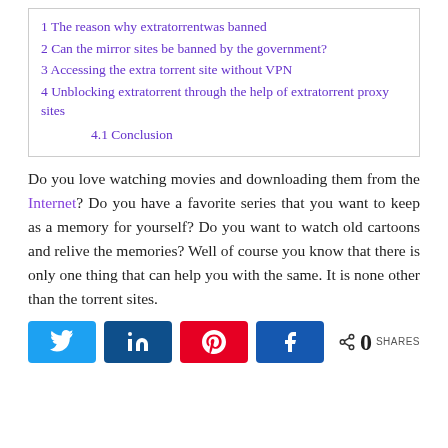1 The reason why extratorrentwas banned
2 Can the mirror sites be banned by the government?
3 Accessing the extra torrent site without VPN
4 Unblocking extratorrent through the help of extratorrent proxy sites
4.1 Conclusion
Do you love watching movies and downloading them from the Internet? Do you have a favorite series that you want to keep as a memory for yourself? Do you want to watch old cartoons and relive the memories? Well of course you know that there is only one thing that can help you with the same. It is none other than the torrent sites.